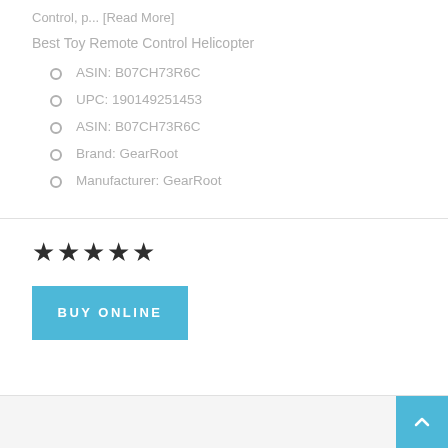Control, p... [Read More]
Best Toy Remote Control Helicopter
ASIN: B07CH73R6C
UPC: 190149251453
ASIN: B07CH73R6C
Brand: GearRoot
Manufacturer: GearRoot
[Figure (other): Five filled star icons representing a 5-star rating]
BUY ONLINE